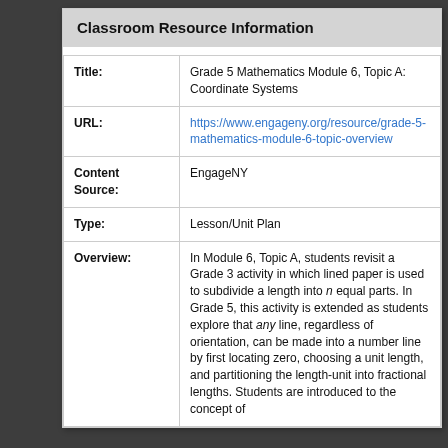Classroom Resource Information
| Field | Value |
| --- | --- |
| Title: | Grade 5 Mathematics Module 6, Topic A: Coordinate Systems |
| URL: | https://www.engageny.org/resource/grade-5-mathematics-module-6-topic-overview |
| Content Source: | EngageNY |
| Type: | Lesson/Unit Plan |
| Overview: | In Module 6, Topic A, students revisit a Grade 3 activity in which lined paper is used to subdivide a length into n equal parts. In Grade 5, this activity is extended as students explore that any line, regardless of orientation, can be made into a number line by first locating zero, choosing a unit length, and partitioning the length-unit into fractional lengths. Students are introduced to the concept of... |